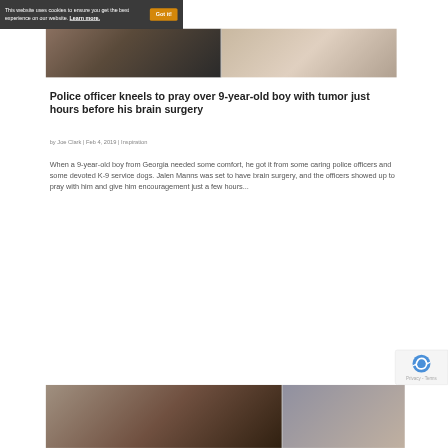This website uses cookies to ensure you get the best experience on our website. Learn more.
[Figure (photo): Two photos side by side, partially visible: left shows a person's hands, right shows a person with glasses]
Police officer kneels to pray over 9-year-old boy with tumor just hours before his brain surgery
by Joe Clark | Feb 4, 2019 | Inspiration
When a 9-year-old boy from Georgia needed some comfort, he got it from some caring police officers and some devoted K-9 service dogs. Jalen Manns was set to have brain surgery, and the officers showed up to pray with him and give him encouragement just a few hours...
[Figure (photo): Two photos side by side partially visible at bottom: left shows Swiss guard and bishop, right shows a person smiling]